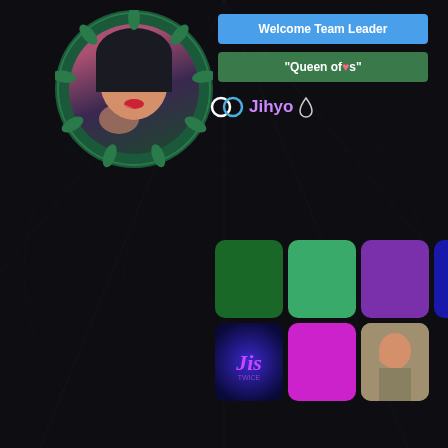[Figure (photo): Screenshot of a social media/forum profile page with dark background. Shows a profile avatar (person with dark hair and red lips in a circular frame with leaf decoration), a blue 'Welcome Team Leader' banner, a green 'Queen of hearts s' banner, username 'Jihyo' with ring and drop icons, a grid of colored swatches (dark green, medium green, purple, dark blue, neon purple, and a photo thumbnail), dated Jul 19th 2021, and a quote from Ves starting 'Just FYI guys, we are actively looking'. A red scroll button is visible on the right. A cookie consent bar appears at the bottom.]
Welcome Team Leader
"Queen of ♥s"
Jihyo
Jul 19th 2021
Quote from Ves
Just FYI guys, we are actively looking
This site uses cookies. By continuing to browse this site, you are agreeing to our use of cookies.
More Details
Close